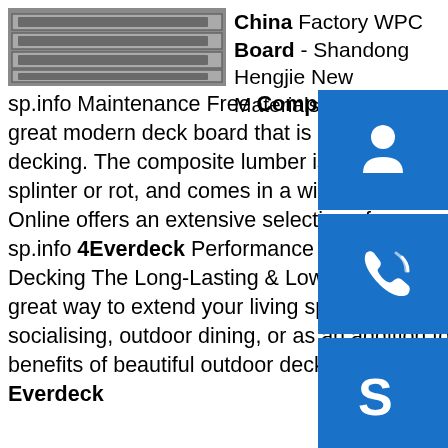[Figure (photo): Product photo showing grey metal channel/hollow sections stacked together]
China Factory WPC Board - Shandong Hengjie New Materials Co., Ltd.sp.info Maintenance Free Composite Decking, The Deck StoreComposite decking board great modern deck board that is easier to install an longer than typical natural wood decking. The composite lumber is virtually maintenance free decking, extremely strong, will not splinter or rot, and comes in a wide of natural looking colors and styles. The Deck Store Online offers an extensive selection of composite decking fascia boards from many top …sp.info 4Everdeck Performance Composite Decking Suppliers4 Ever Composite Decking The Long-Lasting & Low-Maintenance Decking Solution Composite decking is a great way to extend your living space and create a wonderful outdoor area perfect for socialising, outdoor dining, or as an addition to your pool area. If you want to enjoy the benefits of beautiful outdoor decking without having to spend hours maintaining it, 4 Everdeck
[Figure (illustration): Blue customer service / headset icon]
[Figure (illustration): Blue phone icon]
[Figure (illustration): Blue Skype icon]